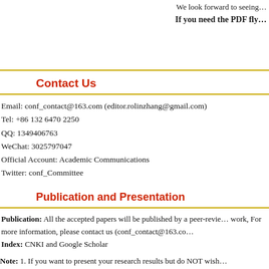We look forward to seeing…
If you need the PDF fly…
Contact Us
Email: conf_contact@163.com (editor.rolinzhang@gmail.com)
Tel: +86 132 6470 2250
QQ: 1349406763
WeChat: 3025797047
Official Account: Academic Communications
Twitter: conf_Committee
Publication and Presentation
Publication: All the accepted papers will be published by a peer-revie… work, For more information, please contact us (conf_contact@163.co… Index: CNKI and Google Scholar
Note: 1. If you want to present your research results but do NOT wish… 2. Please click Template for Manuscript (below the Registration bott…